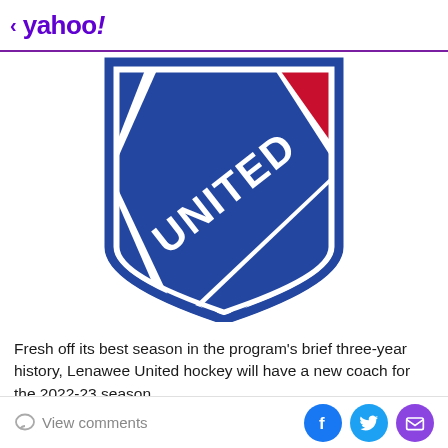< yahoo!
[Figure (logo): Lenawee United hockey logo — blue and red shield/badge with 'UNITED' text diagonally across center, white border, Rangers-style crest]
Fresh off its best season in the program's brief three-year history, Lenawee United hockey will have a new coach for the 2022-23 season.
The program announced Wednesday its decision to name
View comments